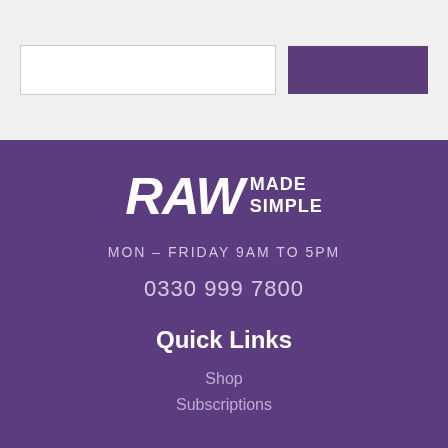[Figure (screenshot): Top section with a white input box and a dark purple button on a light grey background]
[Figure (logo): Raw Made Simple logo in white text on purple background]
MON – FRIDAY 9AM TO 5PM
0330 999 7800
Quick Links
Shop
Subscriptions